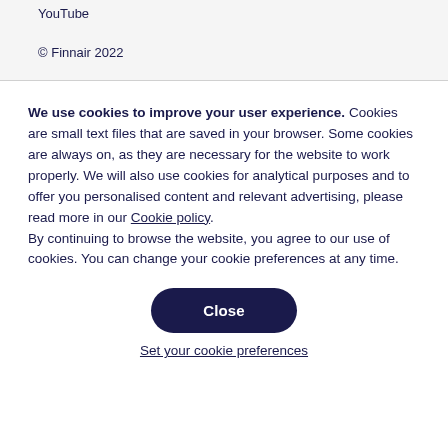YouTube
© Finnair 2022
We use cookies to improve your user experience. Cookies are small text files that are saved in your browser. Some cookies are always on, as they are necessary for the website to work properly. We will also use cookies for analytical purposes and to offer you personalised content and relevant advertising, please read more in our Cookie policy.
By continuing to browse the website, you agree to our use of cookies. You can change your cookie preferences at any time.
Close
Set your cookie preferences